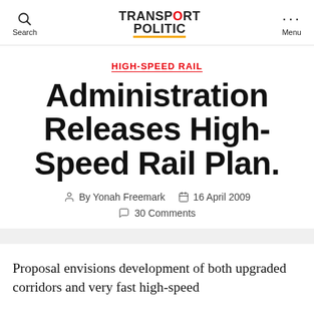Search | TRANSPORT POLITIC | Menu
HIGH-SPEED RAIL
Administration Releases High-Speed Rail Plan.
By Yonah Freemark   16 April 2009   30 Comments
Proposal envisions development of both upgraded corridors and very fast high-speed